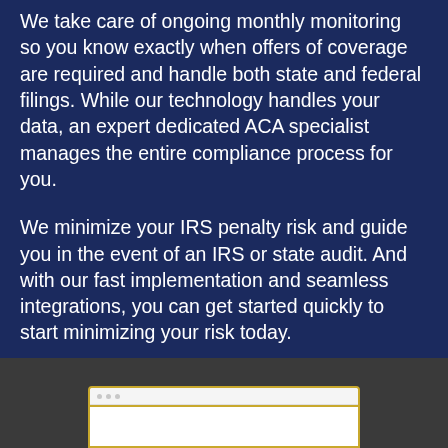We take care of ongoing monthly monitoring so you know exactly when offers of coverage are required and handle both state and federal filings. While our technology handles your data, an expert dedicated ACA specialist manages the entire compliance process for you.
We minimize your IRS penalty risk and guide you in the event of an IRS or state audit. And with our fast implementation and seamless integrations, you can get started quickly to start minimizing your risk today.
[Figure (screenshot): Partial screenshot of a software interface with a gold/yellow top border and a light gray title bar with three dots, shown at the bottom of the page against a dark gray background.]